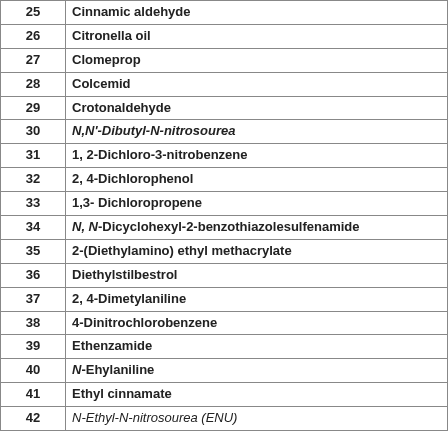| # | Name |
| --- | --- |
| 25 | Cinnamic aldehyde |
| 26 | Citronella oil |
| 27 | Clomeprop |
| 28 | Colcemid |
| 29 | Crotonaldehyde |
| 30 | N,N'-Dibutyl-N-nitrosourea |
| 31 | 1, 2-Dichloro-3-nitrobenzene |
| 32 | 2, 4-Dichlorophenol |
| 33 | 1,3- Dichloropropene |
| 34 | N, N-Dicyclohexyl-2-benzothiazolesulfenamide |
| 35 | 2-(Diethylamino) ethyl methacrylate |
| 36 | Diethylstilbestrol |
| 37 | 2, 4-Dimetylaniline |
| 38 | 4-Dinitrochlorobenzene |
| 39 | Ethenzamide |
| 40 | N-Ehylaniline |
| 41 | Ethyl cinnamate |
| 42 | N-Ethyl-N-nitrosourea (ENU) |